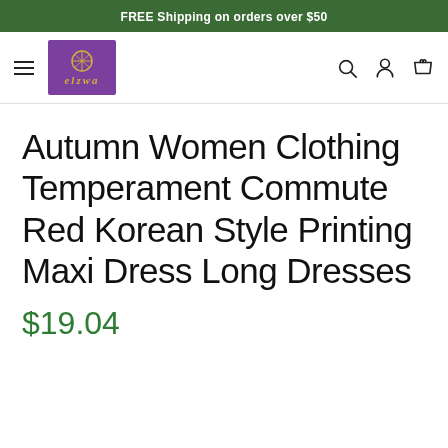FREE Shipping on orders over $50
[Figure (logo): elzwa brand logo, purple background with gold geometric symbol and italic text]
Autumn Women Clothing Temperament Commute Red Korean Style Printing Maxi Dress Long Dresses
$19.04